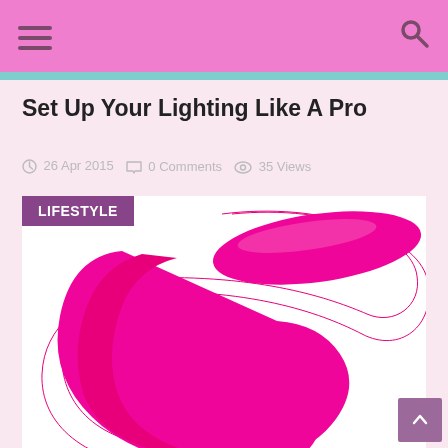Navigation bar with hamburger menu and search icon
Set Up Your Lighting Like A Pro
26 Apr 2015  0 Comments  35 Views
[Figure (photo): Pink C-shaped adult toy/device on white background with LIFESTYLE category badge overlay]
Back to top button